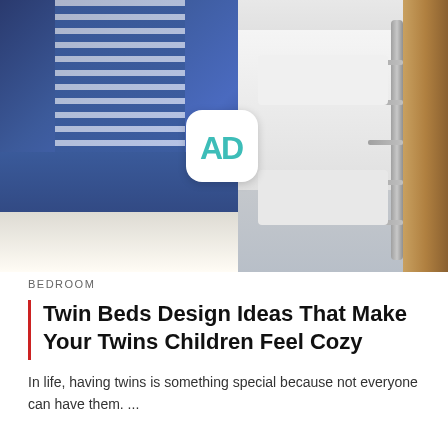[Figure (photo): Split collage image: left side shows a cozy blue-themed twin bedroom with two beds, blue upholstered headboards, blue and white striped canopy/curtains, and decorative pillows; right side shows a bunk bed setup with wooden frame and metal ladder, white pillows and bedding, with a window showing greenery. An AD (Architectural Digest) app icon badge overlaid at the center.]
BEDROOM
Twin Beds Design Ideas That Make Your Twins Children Feel Cozy
In life, having twins is something special because not everyone can have them. ...